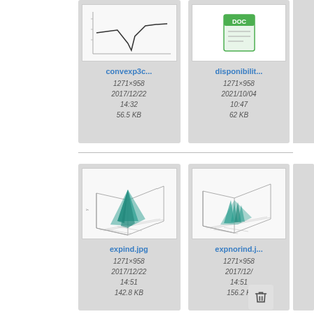[Figure (screenshot): File browser grid view showing file cards: convexp3c... (1271x958, 2017/12/22 14:32, 56.5 KB), disponibilit... (1271x958, 2021/10/04 10:47, 62 KB), expind.jpg (1271x958, 2017/12/22 14:51, 142.8 KB), expnorind.j... (1271x958, 2017/12/22 14:51, 156.2 KB), plus a context menu with file, history, link, and up-arrow icons, and a delete button.]